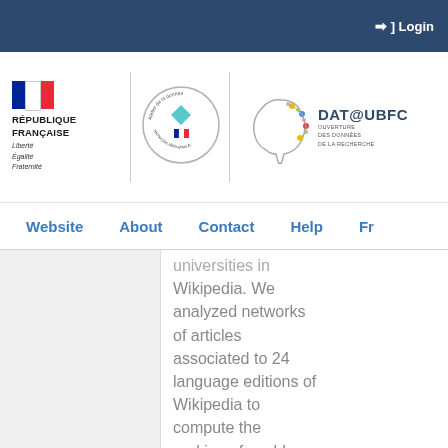Login
[Figure (logo): République Française logo with tricolor flag, text RÉPUBLIQUE FRANÇAISE, Liberté Égalité Fraternité]
[Figure (logo): Atelier de la donnée circular logo with recherche.data.gouv.fr text]
[Figure (logo): DAT@UBFC logo with brain circuit illustration and text OUVERTURE DES DONNÉES DE LA RECHERCHE]
Website   About   Contact   Help   Fr
universities in Wikipedia. We analyzed networks of articles associated to 24 language editions of Wikipedia to compute the ranking of world universities using PageRank,